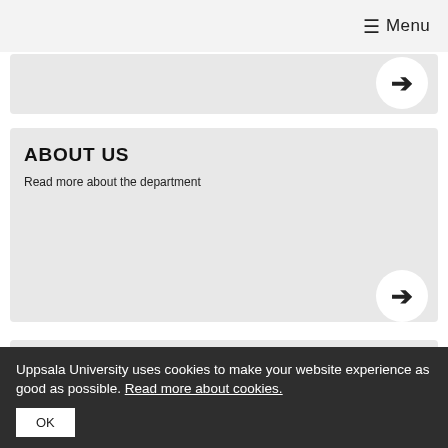☰ Menu
[Figure (other): Partial navigation card with right-arrow button]
ABOUT US
Read more about the department
[Figure (other): Right-arrow circle button for About Us card]
CONTACT US
Contact details to directors of studies, head of department, administrators and
Uppsala University uses cookies to make your website experience as good as possible. Read more about cookies.
OK